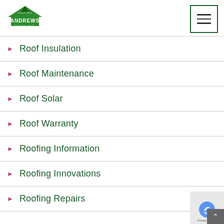[Figure (logo): Andrews Roofing logo with green house/roof shape and text ANDREWS ROOFING]
Roof Insulation
Roof Maintenance
Roof Solar
Roof Warranty
Roofing Information
Roofing Innovations
Roofing Repairs